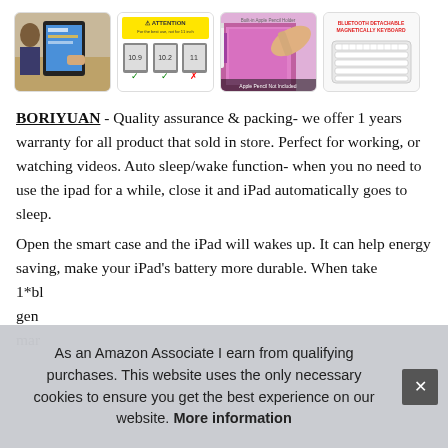[Figure (photo): Four product thumbnail images: (1) person using iPad at desk, (2) yellow attention notice with compatible device models, (3) hand holding Apple Pencil over pink/purple iPad case with built-in pencil holder, (4) white Bluetooth detachable magnetically keyboard]
BORIYUAN - Quality assurance & packing- we offer 1 years warranty for all product that sold in store. Perfect for working, or watching videos. Auto sleep/wake function- when you no need to use the ipad for a while, close it and iPad automatically goes to sleep.
Open the smart case and the iPad will wakes up. It can help energy saving, make your iPad's battery more durable. When take...1*bl...gen...mar...
As an Amazon Associate I earn from qualifying purchases. This website uses the only necessary cookies to ensure you get the best experience on our website. More information